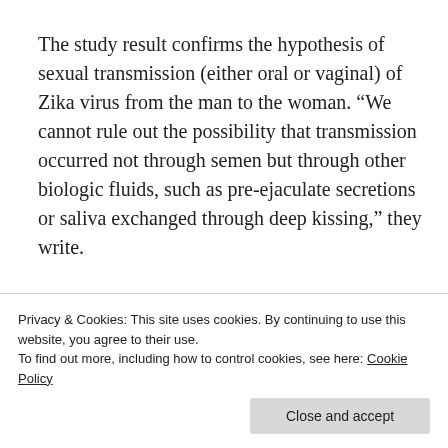The study result confirms the hypothesis of sexual transmission (either oral or vaginal) of Zika virus from the man to the woman. “We cannot rule out the possibility that transmission occurred not through semen but through other biologic fluids, such as pre-ejaculate secretions or saliva exchanged through deep kissing,” they write.
Saliva sample of the man was tested only on day 10 after the onset of symptoms tested negative
Privacy & Cookies: This site uses cookies. By continuing to use this website, you agree to their use.
To find out more, including how to control cookies, see here: Cookie Policy